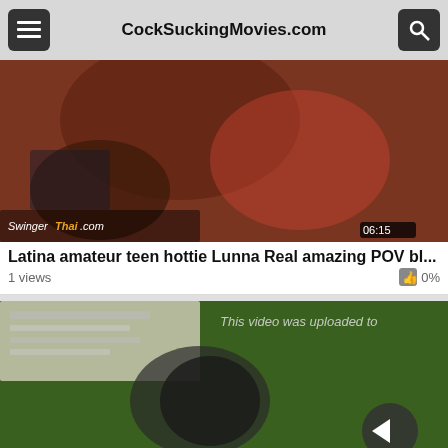CockSuckingMovies.com
[Figure (screenshot): Video thumbnail showing a close-up scene with a duration badge reading 06:15 and a SwingerThai.com watermark]
Latina amateur teen hottie Lunna Real amazing POV bl...
1 views   👍 0%
[Figure (screenshot): Video thumbnail showing a woman from above on a green surface with text overlay 'This video was uploaded to' and a scroll-to-top button]